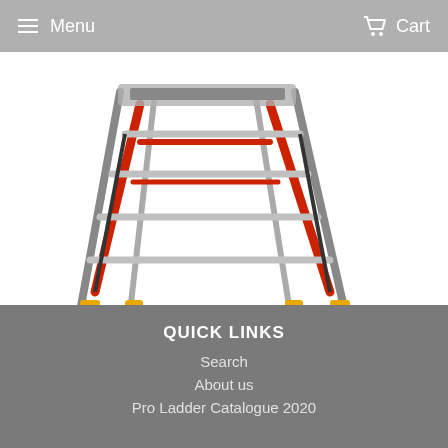Menu  Cart
[Figure (photo): Photo of an Aerial Safety Cage 14 Feet ladder product — a multi-legged adjustable scaffold/ladder with red, black, and silver components and yellow accents at the base joints]
Aerial Safety Cage 14 Feet
QUICK LINKS
Search
About us
Pro Ladder Catalogue 2020